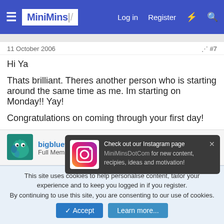MiniMins — Log in  Register
11 October 2006
#7
Hi Ya

Thats brilliant. Theres another person who is starting around the same time as me. Im starting on Monday!! Yay!

Congratulations on coming through your first day!
[Figure (photo): Avatar of user bigblueforrymonster - teal fur monster character]
bigblueforrymonster
Full Member
[Figure (infographic): Instagram popup notification: Check out our Instagram page MiniMinsDotCom for new content, recipies, ideas and motivation!]
11 October 2006
#8
This site uses cookies to help personalise content, tailor your experience and to keep you logged in if you register.
By continuing to use this site, you are consenting to our use of cookies.